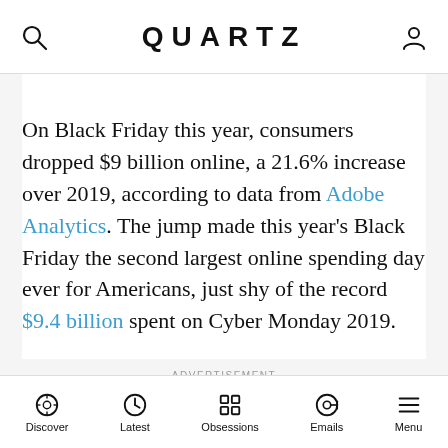QUARTZ
On Black Friday this year, consumers dropped $9 billion online, a 21.6% increase over 2019, according to data from Adobe Analytics. The jump made this year's Black Friday the second largest online spending day ever for Americans, just shy of the record $9.4 billion spent on Cyber Monday 2019.
ADVERTISEMENT
Discover | Latest | Obsessions | Emails | Menu